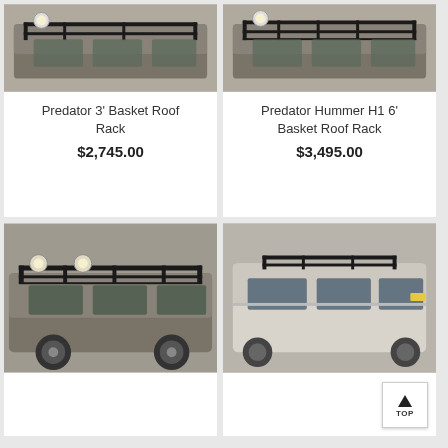[Figure (photo): Hummer H1 with Predator 3' Basket Roof Rack, top-down view in garage]
Predator 3' Basket Roof Rack
$2,745.00
[Figure (photo): Hummer H1 with Predator Hummer H1 6' Basket Roof Rack, top-down view in garage]
Predator Hummer H1 6' Basket Roof Rack
$3,495.00
[Figure (photo): Hummer H1 with large basket roof rack, side angle view]
[Figure (photo): Hummer H1 with slimmer roof rack bars, rear side view]